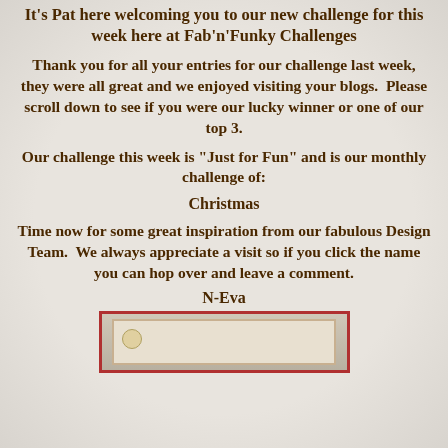It's Pat here welcoming you to our new challenge for this week here at Fab'n'Funky Challenges
Thank you for all your entries for our challenge last week, they were all great and we enjoyed visiting your blogs.  Please scroll down to see if you were our lucky winner or one of our top 3.
Our challenge this week is "Just for Fun" and is our monthly challenge of:
Christmas
Time now for some great inspiration from our fabulous Design Team.  We always appreciate a visit so if you click the name you can hop over and leave a comment.
N-Eva
[Figure (photo): A photo of a Christmas card with a red border, partially visible at the bottom of the page]